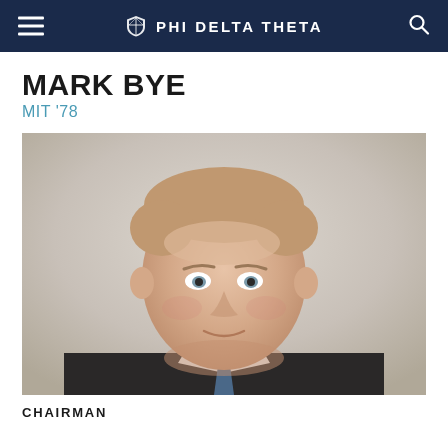PHI DELTA THETA
MARK BYE
MIT '78
[Figure (photo): Professional headshot of Mark Bye, a middle-aged man with light reddish-brown hair, wearing a dark suit and tie, photographed against a light neutral background.]
CHAIRMAN